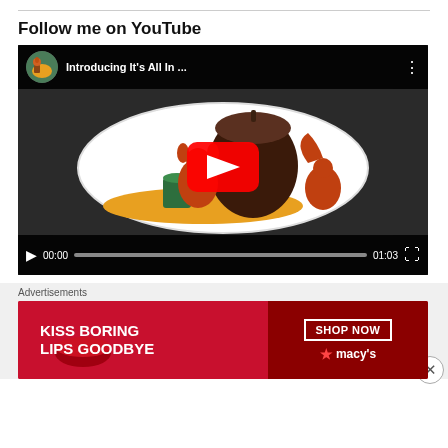Follow me on YouTube
[Figure (screenshot): YouTube video player showing 'Introducing It's All In ...' with squirrel and acorn illustration, play button, timestamp 00:00 / 01:03]
Advertisements
[Figure (photo): Advertisement banner: 'KISS BORING LIPS GOODBYE' with SHOP NOW button and Macy's logo]